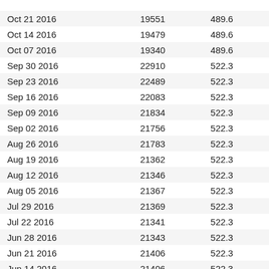| Oct 21 2016 | 19551 | 489.6 |
| Oct 14 2016 | 19479 | 489.6 |
| Oct 07 2016 | 19340 | 489.6 |
| Sep 30 2016 | 22910 | 522.3 |
| Sep 23 2016 | 22489 | 522.3 |
| Sep 16 2016 | 22083 | 522.3 |
| Sep 09 2016 | 21834 | 522.3 |
| Sep 02 2016 | 21756 | 522.3 |
| Aug 26 2016 | 21783 | 522.3 |
| Aug 19 2016 | 21362 | 522.3 |
| Aug 12 2016 | 21346 | 522.3 |
| Aug 05 2016 | 21367 | 522.3 |
| Jul 29 2016 | 21369 | 522.3 |
| Jul 22 2016 | 21341 | 522.3 |
| Jun 28 2016 | 21343 | 522.3 |
| Jun 21 2016 | 21406 | 522.3 |
| Jun 14 2016 | 21406 | 522.3 |